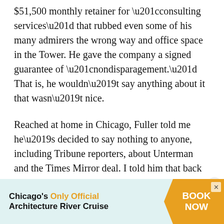$51,500 monthly retainer for “consulting services” that rubbed even some of his many admirers the wrong way and office space in the Tower. He gave the company a signed guarantee of “nondisparagement.” That is, he wouldn’t say anything about it that wasn’t nice.
Reached at home in Chicago, Fuller told me he’s decided to say nothing to anyone, including Tribune reporters, about Unterman and the Times Mirror deal. I told him that back at the paper his reputation has taken a beating.
“It is what it is,” he said.
[Figure (other): Advertisement banner for Chicago’s Only Official Architecture River Cruise with a BOOK NOW call to action in an orange arrow shape]